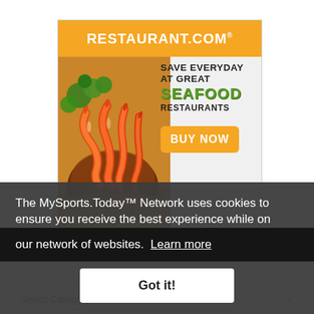[Figure (infographic): Restaurant.com advertisement banner. Orange header with 'RESTAURANT.COM®' text. Main area shows photo of shrimp/seafood dish on left. Text on right reads 'SAVE EVERYDAY AT GREAT SEAFOOD RESTAURANTS' with orange 'BUY NOW' button.]
The MySports.Today™ Network uses cookies to ensure you receive the best experience while on our network of websites. Learn more
Got it!
Select Category